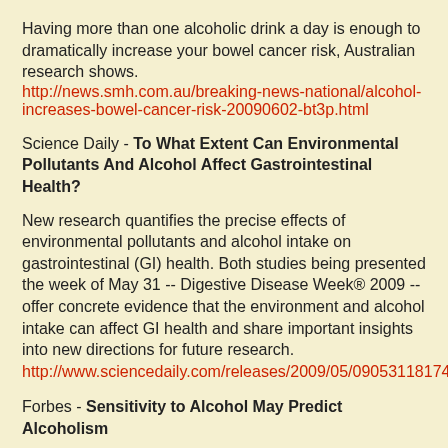Having more than one alcoholic drink a day is enough to dramatically increase your bowel cancer risk, Australian research shows.
http://news.smh.com.au/breaking-news-national/alcohol-increases-bowel-cancer-risk-20090602-bt3p.html
Science Daily - To What Extent Can Environmental Pollutants And Alcohol Affect Gastrointestinal Health?
New research quantifies the precise effects of environmental pollutants and alcohol intake on gastrointestinal (GI) health. Both studies being presented the week of May 31 -- Digestive Disease Week® 2009 -- offer concrete evidence that the environment and alcohol intake can affect GI health and share important insights into new directions for future research.
http://www.sciencedaily.com/releases/2009/05/090531181746.htm
Forbes - Sensitivity to Alcohol May Predict Alcoholism